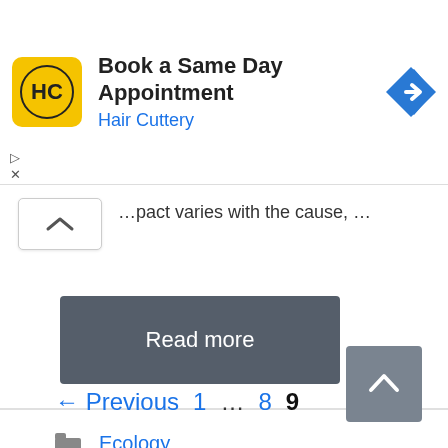[Figure (screenshot): Advertisement banner for Hair Cuttery featuring logo, 'Book a Same Day Appointment' text, brand name link, and a navigation arrow icon]
...pact varies with the cause, ...
[Figure (other): Read more button - dark gray rounded rectangle]
Ecology
← Previous  1  ...  8  9